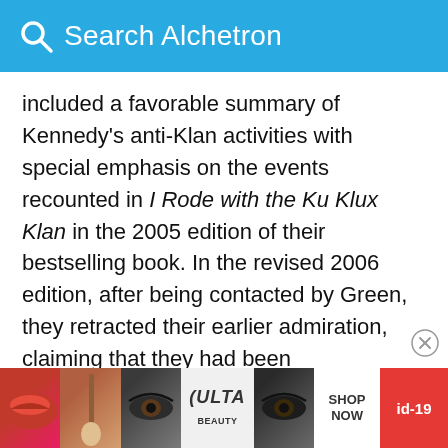Search Alchetron
included a favorable summary of Kennedy's anti-Klan activities with special emphasis on the events recounted in I Rode with the Ku Klux Klan in the 2005 edition of their bestselling book. In the revised 2006 edition, after being contacted by Green, they retracted their earlier admiration, claiming that they had been "hoodwinked". The allegations in their retraction were swiftly repeated by the business journal Forbes in a review of the revised edition of Freakonomics: "It turns out that Kennedy doesn't quite live up to his own legend. In fact, he had exaggerated his story for decades and credited himse
[Figure (screenshot): Advertisement banner for ULTA beauty showing makeup imagery, SHOP NOW call to action, and id-19 tag]